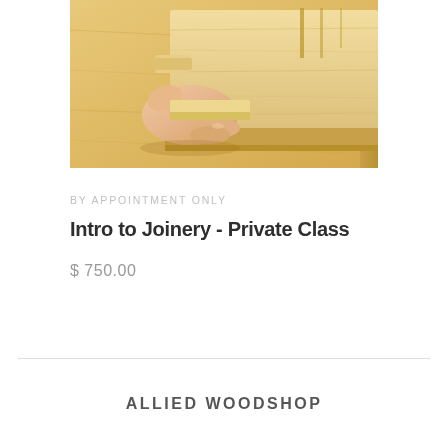[Figure (photo): A hand holding and examining a wooden joinery piece — a lap joint or sliding dovetail in light maple wood, with woodworking tools and wood panels in the background on a workbench.]
BY APPOINTMENT ONLY
Intro to Joinery - Private Class
$ 750.00
ALLIED WOODSHOP